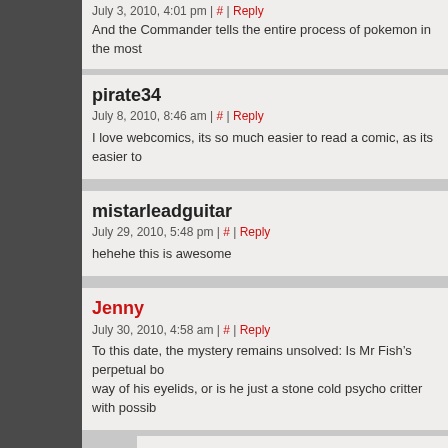July 3, 2010, 4:01 pm | # | Reply
And the Commander tells the entire process of pokemon in the most
pirate34
July 8, 2010, 8:46 am | # | Reply
I love webcomics, its so much easier to read a comic, as its easier to
mistarleadguitar
July 29, 2010, 5:48 pm | # | Reply
hehehe this is awesome
Jenny
July 30, 2010, 4:58 am | # | Reply
To this date, the mystery remains unsolved: Is Mr Fish’s perpetual bo way of his eyelids, or is he just a stone cold psycho critter with possib
Dementron
May 19, 2011, 12:32 am | Reply
It’s definitely brain damage.